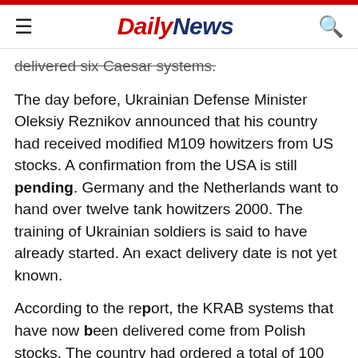Daily News
delivered six Caesar systems.
The day before, Ukrainian Defense Minister Oleksiy Reznikov announced that his country had received modified M109 howitzers from US stocks. A confirmation from the USA is still pending. Germany and the Netherlands want to hand over twelve tank howitzers 2000. The training of Ukrainian soldiers is said to have already started. An exact delivery date is not yet known.
According to the report, the KRAB systems that have now been delivered come from Polish stocks. The country had ordered a total of 100 howitzers in 2016 and later increased the order again. The system, made in Poland, has a Rheinmetell chassis. The howitzer uses 155mm ammunition and can fire